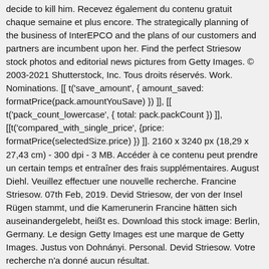decide to kill him. Recevez également du contenu gratuit chaque semaine et plus encore. The strategically planning of the business of InterEPCO and the plans of our customers and partners are incumbent upon her. Find the perfect Striesow stock photos and editorial news pictures from Getty Images. © 2003-2021 Shutterstock, Inc. Tous droits réservés. Work. Nominations. [[ t('save_amount', { amount_saved: formatPrice(pack.amountYouSave) }) ]], [[ t('pack_count_lowercase', { total: pack.packCount }) ]], [[t('compared_with_single_price', {price: formatPrice(selectedSize.price) }) ]]. 2160 x 3240 px (18,29 x 27,43 cm) - 300 dpi - 3 MB. Accéder à ce contenu peut prendre un certain temps et entraîner des frais supplémentaires. August Diehl. Veuillez effectuer une nouvelle recherche. Francine Striesow. 07th Feb, 2019. Devid Striesow, der von der Insel Rügen stammt, und die Kamerunerin Francine hätten sich auseinandergelebt, heißt es. Download this stock image: Berlin, Germany. Le design Getty Images est une marque de Getty Images. Justus von Dohnányi. Personal. Devid Striesow. Votre recherche n'a donné aucun résultat.